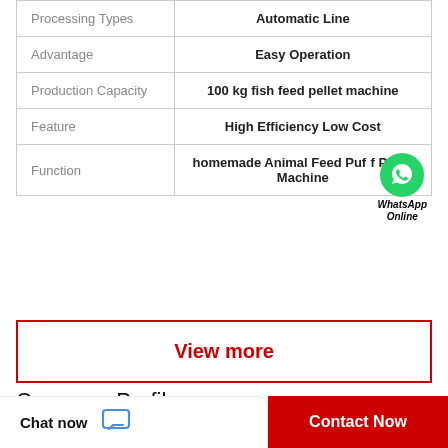|  |  |
| --- | --- |
| Processing Types | Automatic Line |
| Advantage | Easy Operation |
| Production Capacity | 100 kg fish feed pellet machine |
| Feature | High Efficiency Low Cost |
| Function | homemade Animal Feed Puff Pellet Machine |
View more
Company Profile
Chat now
Contact Now